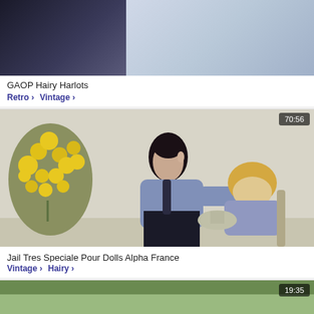[Figure (screenshot): Top partial video thumbnail showing dark and light tones]
GAOP Hairy Harlots
Retro > Vintage >
[Figure (screenshot): Video thumbnail showing two women in blue uniforms with yellow flowers, duration 70:56]
Jail Tres Speciale Pour Dolls Alpha France
Vintage > Hairy >
[Figure (screenshot): Partial bottom video thumbnail with green background, duration 19:35]